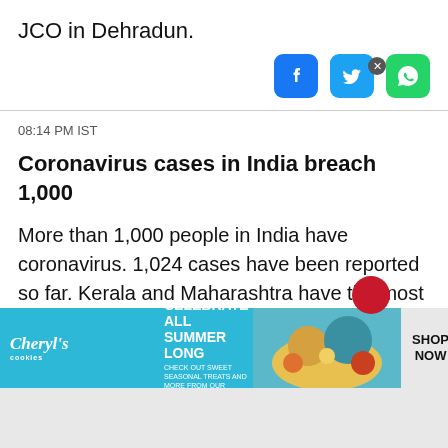JCO in Dehradun.
[Figure (infographic): Social media share icons: Facebook (blue rounded square), Twitter (light blue rounded square), WhatsApp (green rounded square)]
08:14 PM IST
Coronavirus cases in India breach 1,000
More than 1,000 people in India have coronavirus. 1,024 cases have been reported so far. Kerala and Maharashtra have the most Covid-19 infected patients.
[Figure (infographic): Advertisement banner for Cheryl's Cookies: 'CELEBRATE ALL SUMMER LONG — CHECK OUT SWEET SEASONAL TREATS AND MORE FROM OUR FAMILY OF BRANDS.' with food imagery and SHOP NOW call to action.]